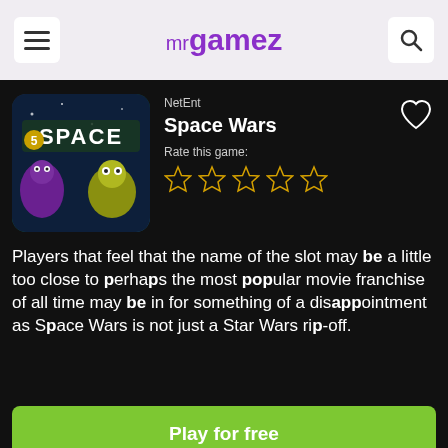mr gamez
NetEnt
Space Wars
Rate this game:
Players that feel that the name of the slot may be a little too close to perhaps the most popular movie franchise of all time may be in for something of a disappointment as Space Wars is not just a Star Wars rip-off.
Play for free
Refresh my game
Report a problem with this game: